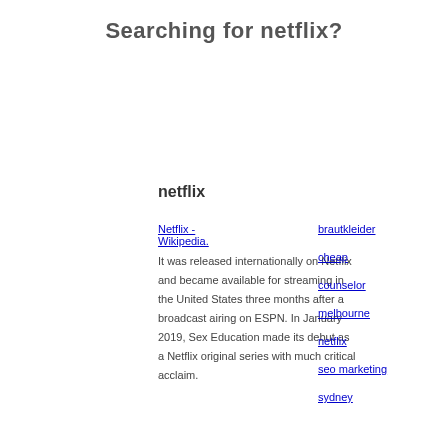Searching for netflix?
netflix
Netflix - Wikipedia.
It was released internationally on Netflix and became available for streaming in the United States three months after a broadcast airing on ESPN. In January 2019, Sex Education made its debut as a Netflix original series with much critical acclaim.
brautkleider
cheap
counselor
melbourne
netflix
seo marketing
sydney